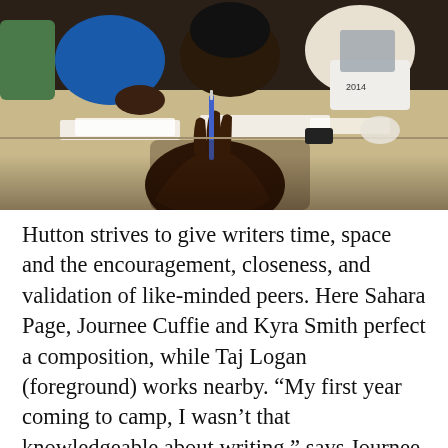[Figure (photo): Students sitting around a table writing and working on compositions in a classroom setting. A hand holding a pen is visible in the foreground, with other students and papers visible in the background.]
Hutton strives to give writers time, space and the encouragement, closeness, and validation of like-minded peers. Here Sahara Page, Journee Cuffie and Kyra Smith perfect a composition, while Taj Logan (foreground) works nearby. “My first year coming to camp, I wasn’t that knowledgeable about writing,” says Journee, 15. “Now I’m writing short stories. And probably next time, I’ll be writing a novel.”